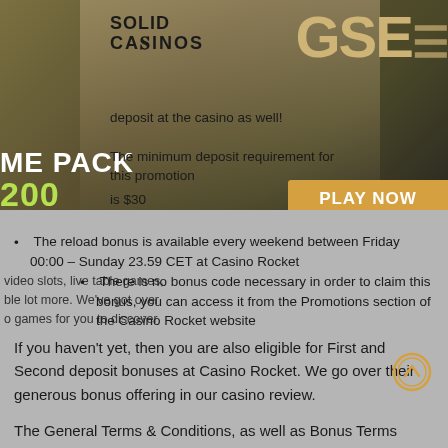[Figure (screenshot): Mobile website screenshot showing Solid Casinos and GSE logos with a casino promotion banner featuring a person in background, PLAY NOW button, and promotional text overlay]
deposit at the casino as well!
ME PACK
200
REESPINS
The minimum deposit requirement for this promotion is $30
PLAY NOW
The reload bonus is available every weekend between Friday 00:00 – Sunday 23.59 CET at Casino Rocket
video slots, live table games, ble lot more. We've got over o games for you to discover
There is no bonus code necessary in order to claim this bonus, you can access it from the Promotions section of the Casino Rocket website
If you haven't yet, then you are also eligible for First and Second deposit bonuses at Casino Rocket. We go over their generous bonus offering in our casino review.
The General Terms & Conditions, as well as Bonus Terms